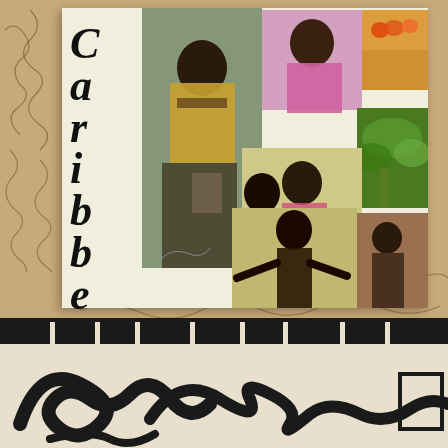[Figure (photo): A photograph of a book cover titled 'Caribbean Cuisine' with a collage of tropical and cultural photos including people at a market, a smiling woman, tropical plants, and children. The book rests on a tan/cream surface with hand-drawn scribble patterns. There is a signature on the cover.]
Caribbean Cuisine
[Figure (photo): Bottom portion showing black bars at top and a cream/white background with large bold hand-drawn swirling calligraphic text/design in black ink.]